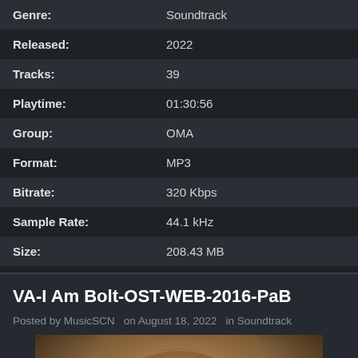| Field | Value |
| --- | --- |
| Genre: | Soundtrack |
| Released: | 2022 |
| Tracks: | 39 |
| Playtime: | 01:30:56 |
| Group: | OMA |
| Format: | MP3 |
| Bitrate: | 320 Kbps |
| Sample Rate: | 44.1 kHz |
| Size: | 208.43 MB |
VA-I Am Bolt-OST-WEB-2016-PaB
Posted by MusicSCN  on August 18, 2022  in Soundtrack
[Figure (photo): Close-up photograph of a man's face, showing intense eyes and forehead, cropped tightly]